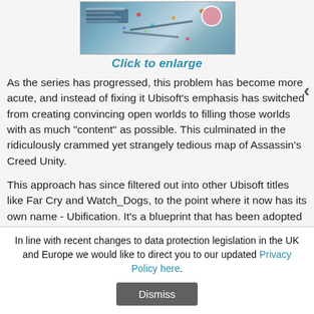[Figure (screenshot): Screenshot of a video game map, possibly Assassin's Creed or Ubisoft game, showing a detailed overhead map with icons and markers.]
Click to enlarge
As the series has progressed, this problem has become more acute, and instead of fixing it Ubisoft's emphasis has switched from creating convincing open worlds to filling those worlds with as much "content" as possible. This culminated in the ridiculously crammed yet strangely tedious map of Assassin's Creed Unity.
This approach has since filtered out into other Ubisoft titles like Far Cry and Watch_Dogs, to the point where it now has its own name - Ubification. It’s a blueprint that has been adopted by other major publishers too, which is
In line with recent changes to data protection legislation in the UK and Europe we would like to direct you to our updated Privacy Policy here.
Dismiss